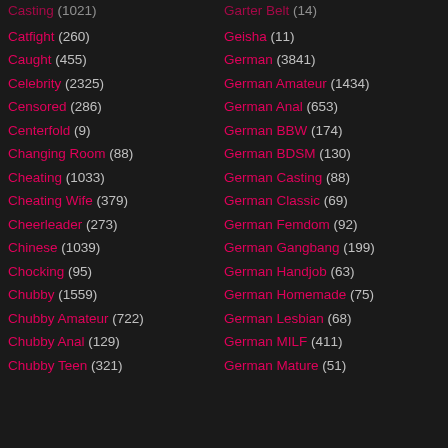Casting (1021)
Catfight (260)
Caught (455)
Celebrity (2325)
Censored (286)
Centerfold (9)
Changing Room (88)
Cheating (1033)
Cheating Wife (379)
Cheerleader (273)
Chinese (1039)
Chocking (95)
Chubby (1559)
Chubby Amateur (722)
Chubby Anal (129)
Chubby Teen (321)
Garter Belt (14)
Geisha (11)
German (3841)
German Amateur (1434)
German Anal (653)
German BBW (174)
German BDSM (130)
German Casting (88)
German Classic (69)
German Femdom (92)
German Gangbang (199)
German Handjob (63)
German Homemade (75)
German Lesbian (68)
German MILF (411)
German Mature (51)